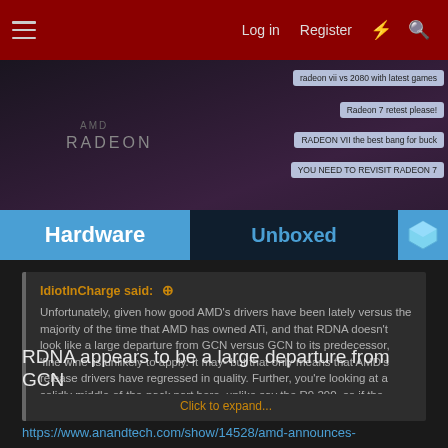Log in | Register
[Figure (screenshot): Hardware Unboxed YouTube thumbnail showing AMD Radeon branding with speech bubbles: 'radeon vii vs 2080 with latest games', 'Radeon 7 retest please!', 'RADEON VII the best bang for buck', 'YOU NEED TO REVISIT RADEON 7']
IdiotInCharge said: Unfortunately, given how good AMD's drivers have been lately versus the majority of the time that AMD has owned ATi, and that RDNA doesn't look like a large departure from GCN versus GCN to its predecessor, 'fine wine' is unlikely to apply. It may- but that only means that AMD's release drivers have regressed in quality. Further, you're looking at a solidly middle-of-the-pack part here, unlike say the R9 290, so if the drivers do improve substantially, these 5700 (XT) cards... Click to expand...
RDNA appears to be a large departure from GCN
https://www.anandtech.com/show/14528/amd-announces-